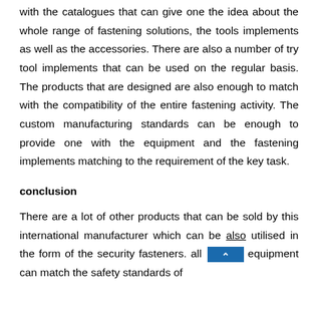with the catalogues that can give one the idea about the whole range of fastening solutions, the tools implements as well as the accessories. There are also a number of try tool implements that can be used on the regular basis. The products that are designed are also enough to match with the compatibility of the entire fastening activity. The custom manufacturing standards can be enough to provide one with the equipment and the fastening implements matching to the requirement of the key task.
conclusion
There are a lot of other products that can be sold by this international manufacturer which can be also utilised in the form of the security fasteners. all such equipment can match the safety standards of